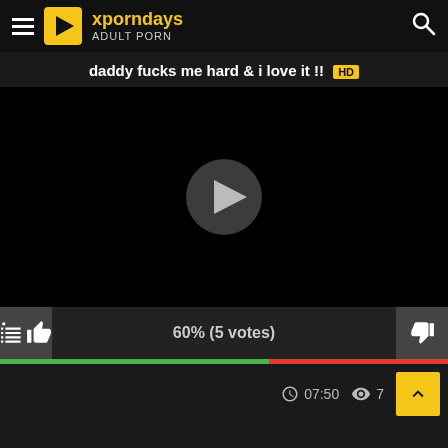xporndays ADULT PORN
daddy fucks me hard & i love it !! HD
[Figure (screenshot): Black video player with circular play button in the center]
60% (5 votes)
07:50